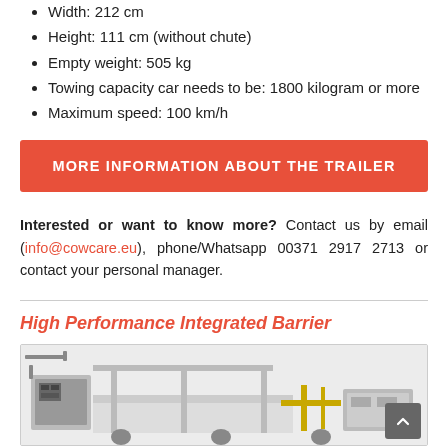Width: 212 cm
Height: 111 cm (without chute)
Empty weight: 505 kg
Towing capacity car needs to be: 1800 kilogram or more
Maximum speed: 100 km/h
MORE INFORMATION ABOUT THE TRAILER
Interested or want to know more? Contact us by email (info@cowcare.eu), phone/Whatsapp 00371 2917 2713 or contact your personal manager.
High Performance Integrated Barrier
[Figure (photo): Photo of a High Performance Integrated Barrier machine/equipment]